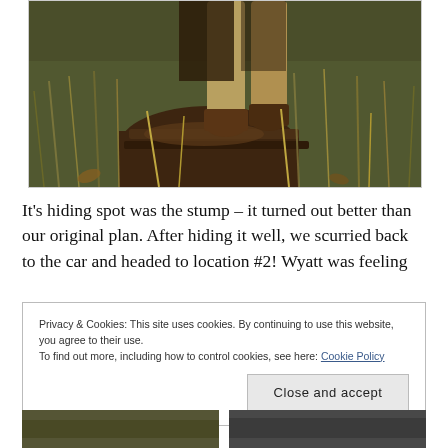[Figure (photo): Outdoor scene showing a person's legs in tan pants and brown boots standing near a large tree stump surrounded by tall dry grass and vegetation.]
It's hiding spot was the stump – it turned out better than our original plan. After hiding it well, we scurried back to the car and headed to location #2! Wyatt was feeling
Privacy & Cookies: This site uses cookies. By continuing to use this website, you agree to their use.
To find out more, including how to control cookies, see here: Cookie Policy
Close and accept
[Figure (photo): Partial bottom-left thumbnail photo.]
[Figure (photo): Partial bottom-right thumbnail photo.]